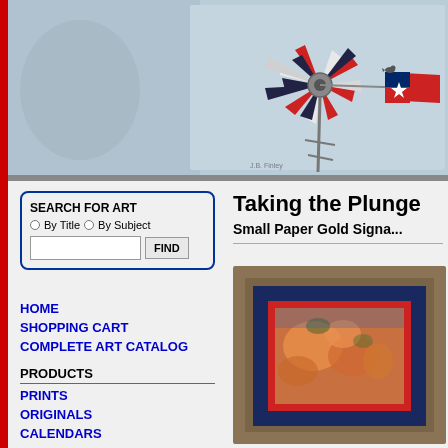[Figure (photo): Texas windmill with red, white, and blue star blades against a light blue sky, with a small bird perched on a blade. A Texas flag-themed tail vane is visible on the right.]
SEARCH FOR ART
By Title  By Subject  FIND
HOME
SHOPPING CART
COMPLETE ART CATALOG
PRODUCTS
PRINTS
ORIGINALS
CALENDARS
MATCHED SETS
Taking the Plunge
Small Paper Gold Signa...
[Figure (photo): Framed artwork showing a nature scene with orange/golden rocks and blue background, in a rustic wooden frame with red mat.]